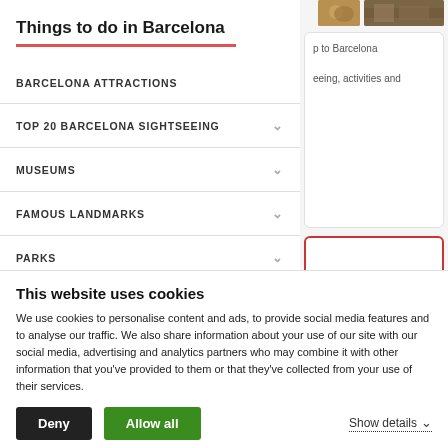Things to do in Barcelona
BARCELONA ATTRACTIONS
TOP 20 BARCELONA SIGHTSEEING
MUSEUMS
FAMOUS LANDMARKS
PARKS
p to Barcelona
eeing, activities and
This website uses cookies
We use cookies to personalise content and ads, to provide social media features and to analyse our traffic. We also share information about your use of our site with our social media, advertising and analytics partners who may combine it with other information that you've provided to them or that they've collected from your use of their services.
Deny
Allow all
Show details